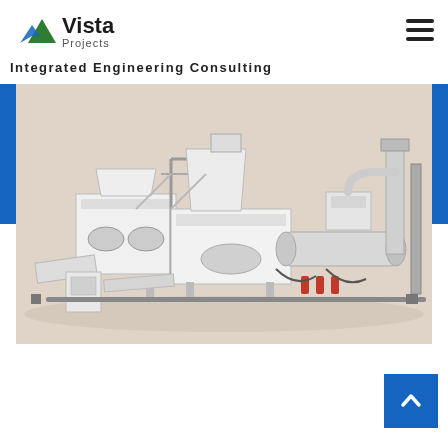[Figure (logo): Vista Projects logo — mountain/chevron icon in green and blue with 'Vista Projects' text]
Integrated Engineering Consulting
[Figure (photo): 3D rendering of an industrial processing/manufacturing line including crushers, conveyors, hoppers, and ductwork on a light beige background]
[Figure (other): Back-to-top button — blue square with white upward chevron arrow]